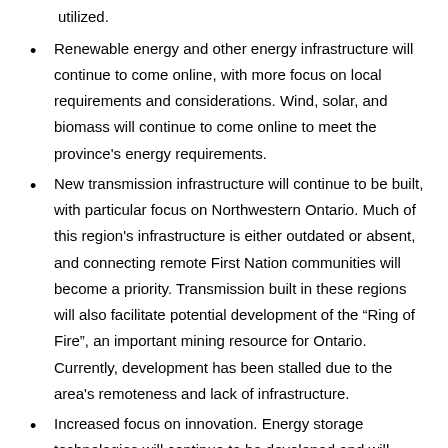utilized.
Renewable energy and other energy infrastructure will continue to come online, with more focus on local requirements and considerations. Wind, solar, and biomass will continue to come online to meet the province's energy requirements.
New transmission infrastructure will continue to be built, with particular focus on Northwestern Ontario. Much of this region's infrastructure is either outdated or absent, and connecting remote First Nation communities will become a priority. Transmission built in these regions will also facilitate potential development of the “Ring of Fire”, an important mining resource for Ontario. Currently, development has been stalled due to the area's remoteness and lack of infrastructure.
Increased focus on innovation. Energy storage technologies will continue to be developed and will